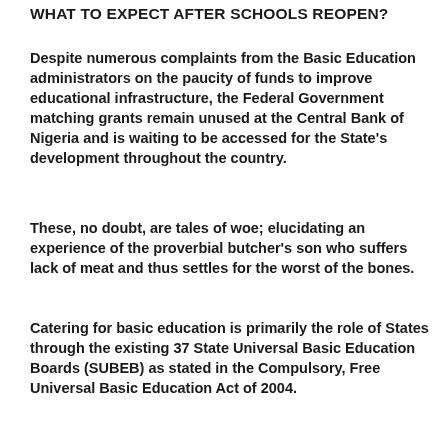WHAT TO EXPECT AFTER SCHOOLS REOPEN?
Despite numerous complaints from the Basic Education administrators on the paucity of funds to improve educational infrastructure, the Federal Government matching grants remain unused at the Central Bank of Nigeria and is waiting to be accessed for the State's development throughout the country.
These, no doubt, are tales of woe; elucidating an experience of the proverbial butcher's son who suffers lack of meat and thus settles for the worst of the bones.
Catering for basic education is primarily the role of States through the existing 37 State Universal Basic Education Boards (SUBEB) as stated in the Compulsory, Free Universal Basic Education Act of 2004.